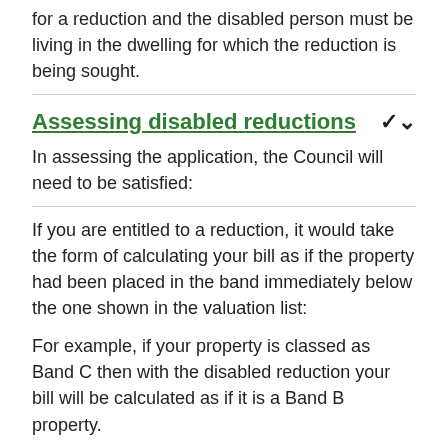for a reduction and the disabled person must be living in the dwelling for which the reduction is being sought.
Assessing disabled reductions
In assessing the application, the Council will need to be satisfied:
If you are entitled to a reduction, it would take the form of calculating your bill as if the property had been placed in the band immediately below the one shown in the valuation list:
For example, if your property is classed as Band C then with the disabled reduction your bill will be calculated as if it is a Band B property.
People living in a Band A property are also entitled to a reduction.
To apply for this in the Corby and East